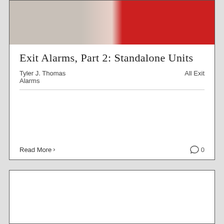[Figure (photo): Photo of exit alarm hardware with red panel visible on right side]
Exit Alarms, Part 2: Standalone Units
Tyler J. Thomas    All  Exit Alarms
Read More >    💬 0
[Figure (photo): Close-up photo of brass/gold mechanical lock or latch hardware against dark background]